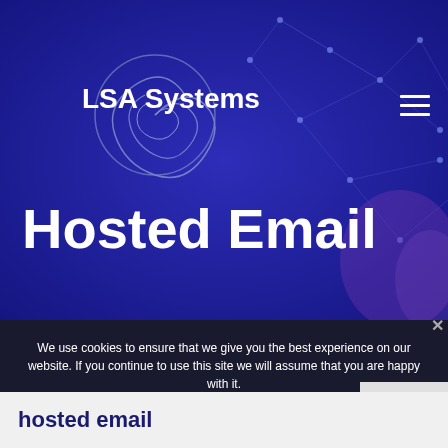[Figure (screenshot): LSA Systems website hero section with dark blue gradient background, network/tech overlay graphic, spiral logo, hamburger menu icon, and large white text 'Hosted Email']
We use cookies to ensure that we give you the best experience on our website. If you continue to use this site we will assume that you are happy with it.
Ok
Privacy policy
hosted email